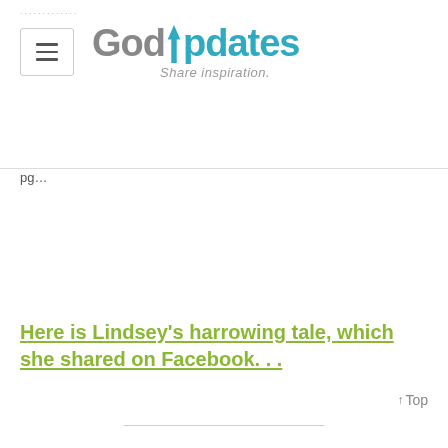GodUpdates – Share inspiration.
Here is Lindsey's harrowing tale, which she shared on Facebook. . .
↑Top